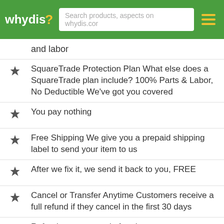whydis - Search products, aspects on whydis.com
and labor
SquareTrade Protection Plan What else does a SquareTrade plan include? 100% Parts & Labor, No Deductible We've got you covered
You pay nothing
Free Shipping We give you a prepaid shipping label to send your item to us
After we fix it, we send it back to you, FREE
Cancel or Transfer Anytime Customers receive a full refund if they cancel in the first 30 days
Refunds are prorated after that